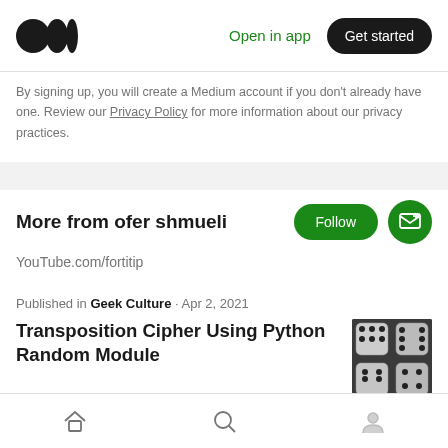Medium logo | Open in app | Get started
By signing up, you will create a Medium account if you don't already have one. Review our Privacy Policy for more information about our privacy practices.
More from ofer shmueli
YouTube.com/fortitip
Published in Geek Culture · Apr 2, 2021
Transposition Cipher Using Python Random Module
[Figure (photo): Thumbnail image of dice]
Cryptography · 3 min read
Home | Search | Profile navigation icons